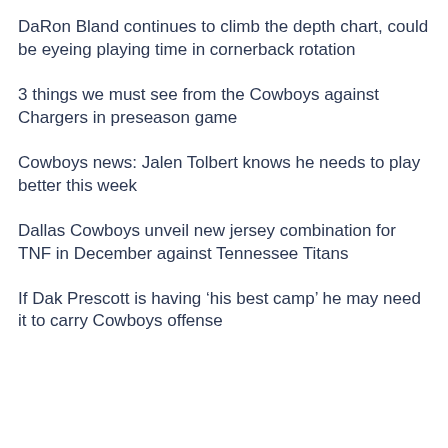DaRon Bland continues to climb the depth chart, could be eyeing playing time in cornerback rotation
3 things we must see from the Cowboys against Chargers in preseason game
Cowboys news: Jalen Tolbert knows he needs to play better this week
Dallas Cowboys unveil new jersey combination for TNF in December against Tennessee Titans
If Dak Prescott is having ‘his best camp’ he may need it to carry Cowboys offense